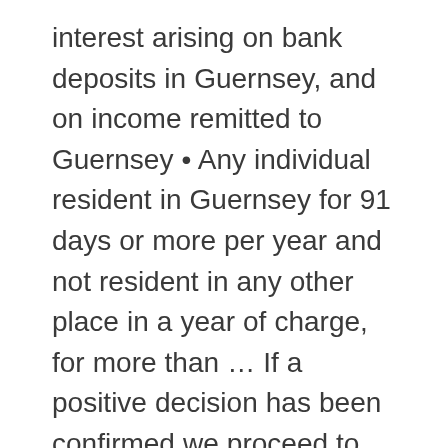interest arising on bank deposits in Guernsey, and on income remitted to Guernsey • Any individual resident in Guernsey for 91 days or more per year and not resident in any other place in a year of charge, for more than … If a positive decision has been confirmed we proceed to finalize our agreement on immigration services to you. If you elect to pay the standard charge (£40,000 from 2021, previously £30,000) you will have not have to pay further tax on your non-Guernsey source income, but you will need to pay tax on your Guernsey income (other than bank deposit interest). Employment In Guernsey for 182 days or more In Guernsey for 91 days or more and